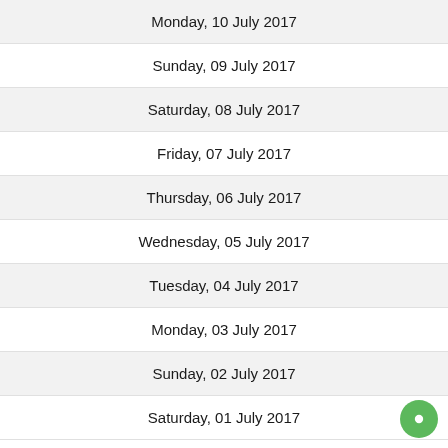Monday, 10 July 2017
Sunday, 09 July 2017
Saturday, 08 July 2017
Friday, 07 July 2017
Thursday, 06 July 2017
Wednesday, 05 July 2017
Tuesday, 04 July 2017
Monday, 03 July 2017
Sunday, 02 July 2017
Saturday, 01 July 2017